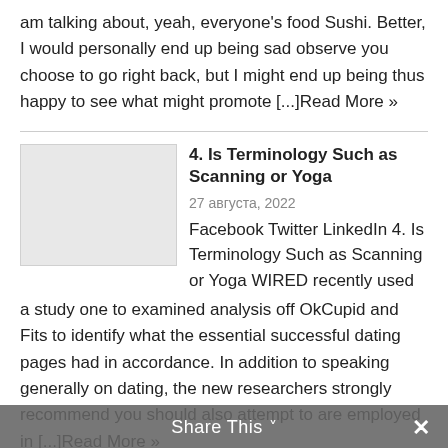am talking about, yeah, everyone's food Sushi. Better, I would personally end up being sad observe you choose to go right back, but I might end up being thus happy to see what might promote [...]Read More »
4. Is Terminology Such as Scanning or Yoga
27 августа, 2022
Facebook Twitter LinkedIn 4. Is Terminology Such as Scanning or Yoga WIRED recently used a study one to examined analysis off OkCupid and Fits to identify what the essential successful dating pages had in accordance. In addition to speaking generally on dating, the new researchers strongly recommend you should also attempt to are employed in [...]Read More »
Looking for a dark colored dating site?
27 августа, 2022
Facebook Twitter LinkedIn Looking for a dark colored dating site? Check in today and you
Share This